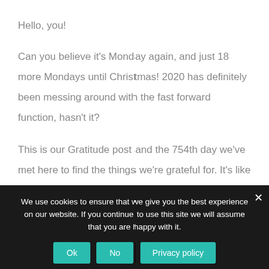Hello, you!
Can you believe it's Monday again, and just 18 more Mondays until Christmas! 2020 has definitely been messing around with the fast forward function, hasn't it?
This is our Gratitude post and the 754th day we've met here to find the things we're grateful for. It's like a Pot Luck Party where you bring what you have – so join us with
We use cookies to ensure that we give you the best experience on our website. If you continue to use this site we will assume that you are happy with it.